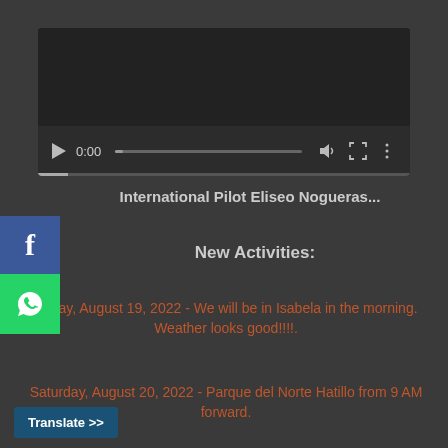[Figure (screenshot): Video player with dark background, play button, 0:00 time, progress bar, volume, fullscreen, and more icons]
International Pilot Eliseo Nogueras...
New Activities:
Friday, August 19, 2022 - We will be in Isabela in the morning. Weather looks good!!!!!.
Saturday, August 20, 2022 - Parque del Norte Hatillo from 9 AM forward.
Translate >>